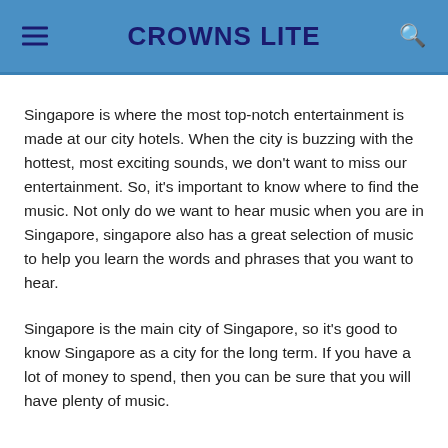CROWNS LITE
Singapore is where the most top-notch entertainment is made at our city hotels. When the city is buzzing with the hottest, most exciting sounds, we don't want to miss our entertainment. So, it's important to know where to find the music. Not only do we want to hear music when you are in Singapore, singapore also has a great selection of music to help you learn the words and phrases that you want to hear.
Singapore is the main city of Singapore, so it's good to know Singapore as a city for the long term. If you have a lot of money to spend, then you can be sure that you will have plenty of music.